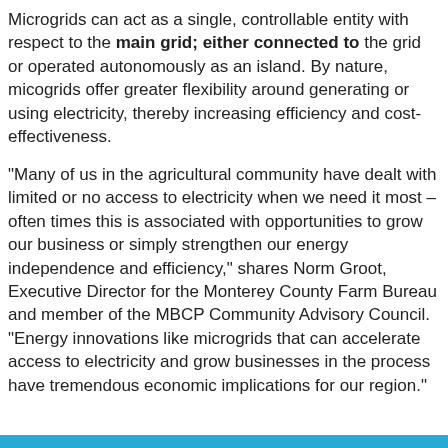Microgrids can act as a single, controllable entity with respect to the main grid; either connected to the grid or operated autonomously as an island. By nature, micogrids offer greater flexibility around generating or using electricity, thereby increasing efficiency and cost-effectiveness.
“Many of us in the agricultural community have dealt with limited or no access to electricity when we need it most – often times this is associated with opportunities to grow our business or simply strengthen our energy independence and efficiency,” shares Norm Groot, Executive Director for the Monterey County Farm Bureau and member of the MBCP Community Advisory Council. “Energy innovations like microgrids that can accelerate access to electricity and grow businesses in the process have tremendous economic implications for our region.”